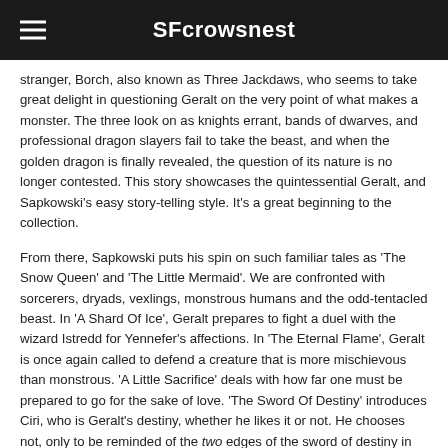SFcrowsnest
stranger, Borch, also known as Three Jackdaws, who seems to take great delight in questioning Geralt on the very point of what makes a monster. The three look on as knights errant, bands of dwarves, and professional dragon slayers fail to take the beast, and when the golden dragon is finally revealed, the question of its nature is no longer contested. This story showcases the quintessential Geralt, and Sapkowski's easy story-telling style. It's a great beginning to the collection.
From there, Sapkowski puts his spin on such familiar tales as 'The Snow Queen' and 'The Little Mermaid'. We are confronted with sorcerers, dryads, vexlings, monstrous humans and the odd-tentacled beast. In 'A Shard Of Ice', Geralt prepares to fight a duel with the wizard Istredd for Yennefer's affections. In 'The Eternal Flame', Geralt is once again called to defend a creature that is more mischievous than monstrous. 'A Little Sacrifice' deals with how far one must be prepared to go for the sake of love. 'The Sword Of Destiny' introduces Ciri, who is Geralt's destiny, whether he likes it or not. He chooses not, only to be reminded of the two edges of the sword of destiny in the last story, 'Something More'.
The stories span a period of years up to Nilfgaardian invasion of Cintra, where Geralt is once again needed. While the battle of—